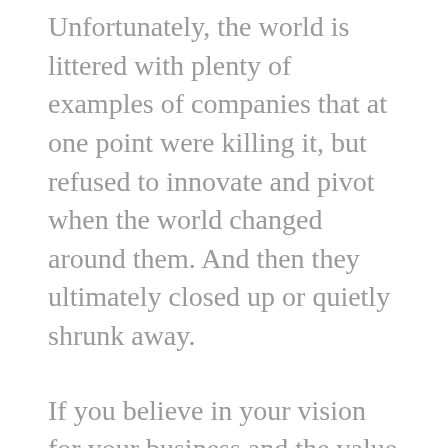Unfortunately, the world is littered with plenty of examples of companies that at one point were killing it, but refused to innovate and pivot when the world changed around them. And then they ultimately closed up or quietly shrunk away.
If you believe in your vision for your business and the value of your team members and the product or service they are providing, you owe it to your customers or clients to pursue innovation with everything possible.